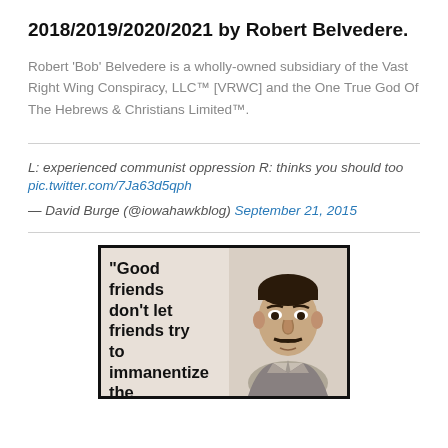2018/2019/2020/2021 by Robert Belvedere.
Robert ‘Bob’ Belvedere is a wholly-owned subsidiary of the Vast Right Wing Conspiracy, LLC™ [VRWC] and the One True God Of The Hebrews & Christians Limited™.
L: experienced communist oppression R: thinks you should too
pic.twitter.com/7Ja63d5qph
— David Burge (@iowahawkblog) September 21, 2015
[Figure (photo): Meme image with black border and beige/tan background. Left side shows bold text: '“Good friends don’t let friends try to immanentize the [escha...]'. Right side shows a black-and-white sketch/photo portrait of a man with a mustache wearing a suit and tie, with a stern or concerned expression.]